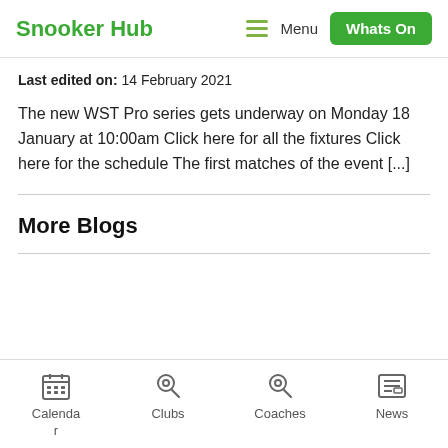Snooker Hub  Menu  Whats On
Last edited on: 14 February 2021
The new WST Pro series gets underway on Monday 18 January at 10:00am Click here for all the fixtures Click here for the schedule The first matches of the event [...]
More Blogs
Calendar  Clubs  Coaches  News